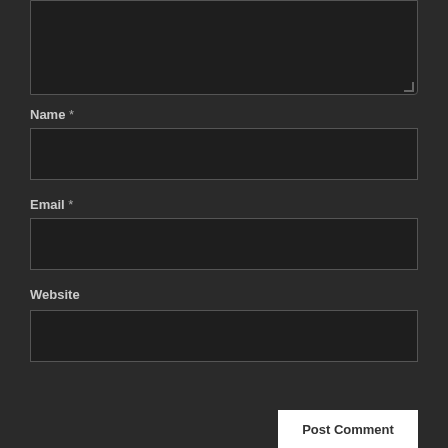[Figure (screenshot): Dark-themed web comment form with a textarea (partially visible at top), Name field with asterisk, Email field with asterisk, Website field, and a Post Comment button partially visible at bottom right.]
Name *
Email *
Website
Post Comment